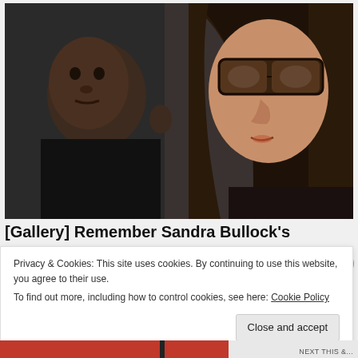[Figure (photo): A woman with dark sunglasses and long brown hair holding a young child in dark clothing. Close-up paparazzi-style photo.]
[Gallery] Remember Sandra Bullock's Son? Try
Privacy & Cookies: This site uses cookies. By continuing to use this website, you agree to their use.
To find out more, including how to control cookies, see here: Cookie Policy
Close and accept